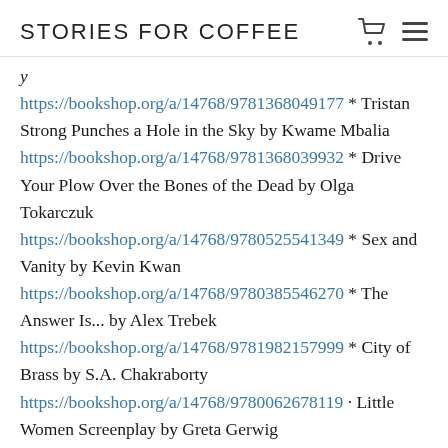STORIES FOR COFFEE
https://bookshop.org/a/14768/9781368049177 * Tristan Strong Punches a Hole in the Sky by Kwame Mbalia
https://bookshop.org/a/14768/9781368039932 * Drive Your Plow Over the Bones of the Dead by Olga Tokarczuk
https://bookshop.org/a/14768/9780525541349 * Sex and Vanity by Kevin Kwan
https://bookshop.org/a/14768/9780385546270 * The Answer Is... by Alex Trebek
https://bookshop.org/a/14768/9781982157999 * City of Brass by S.A. Chakraborty
https://bookshop.org/a/14768/9780062678119 · Little Women Screenplay by Greta Gerwig